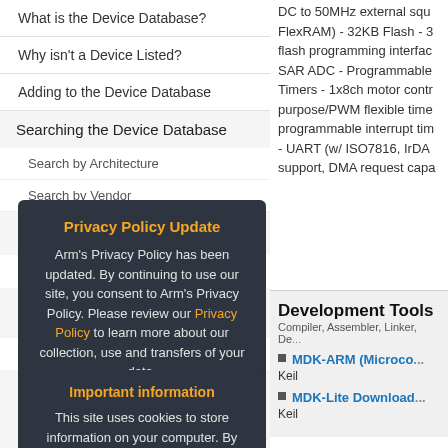What is the Device Database?
Why isn't a Device Listed?
Adding to the Device Database
Searching the Device Database
Search by Architecture
Search by Vendor
Privacy Policy Update
Arm's Privacy Policy has been updated. By continuing to use our site, you consent to Arm's Privacy Policy. Please review our Privacy Policy to learn more about our collection, use and transfers of your data.
Accept and hide this message
Compliance Testing
ISO/A...
Val...
Dist...
Overview
Important information
This site uses cookies to store information on your computer. By continuing to use our site, you consent to our cookies.
Don't show this message again
Change Settings
DC to 50MHz external squ... FlexRAM) - 32KB Flash - 3... flash programming interfac... SAR ADC - Programmable... Timers - 1x8ch motor contr... purpose/PWM flexible time... programmable interrupt tim... - UART (w/ ISO7816, IrDA... support, DMA request capa...
Development Tools
Compiler, Assembler, Linker, De...
MDK-ARM (Microco...
Keil
MDK-Lite Download...
Keil